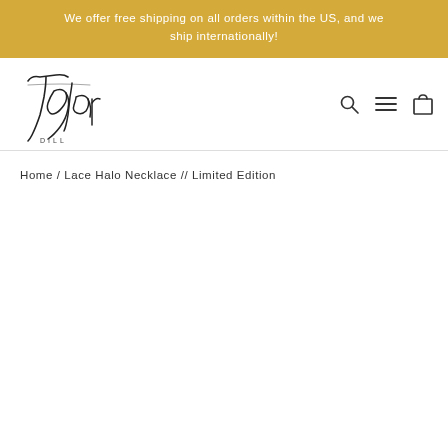We offer free shipping on all orders within the US, and we ship internationally!
[Figure (logo): Taylor Dill handwritten signature logo with 'DILL' text below]
Home / Lace Halo Necklace // Limited Edition